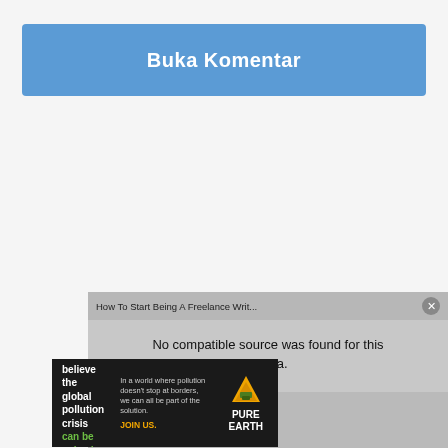Buka Komentar
[Figure (screenshot): Embedded video player showing 'How To Start Being A Freelance Writ...' with message 'No compatible source was found for this media.' and a subtitle '#9: How To Start Being...' at bottom with 'With Colleen Welsch Freelance Writing Coach']
[Figure (infographic): Pure Earth advertisement banner: 'We believe the global pollution crisis can be solved.' with tagline 'In a world where pollution doesn't stop at borders, we can all be part of the solution.' and 'JOIN US.' with Pure Earth logo]